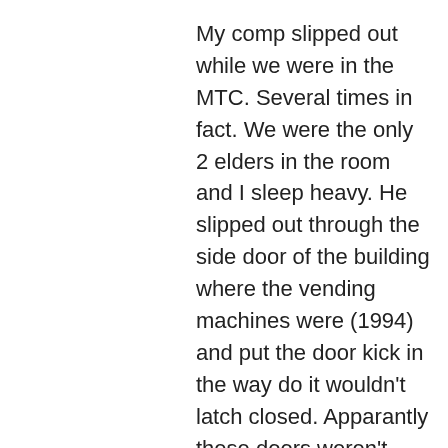My comp slipped out while we were in the MTC. Several times in fact. We were the only 2 elders in the room and I sleep heavy. He slipped out through the side door of the building where the vending machines were (1994) and put the door kick in the way do it wouldn't latch closed. Apparantly these doors weren't monitored closely. A few times he called his brother who picked him up and they drove around during the night. The last time he did it he took another Elder from the District and they went to a local dance hall in Provo. He had gf and thought she might be there that night. They got asked to dance refused and after a few times admitted to being missionaries then left. The next day was the first I learned of any of it when he confessed